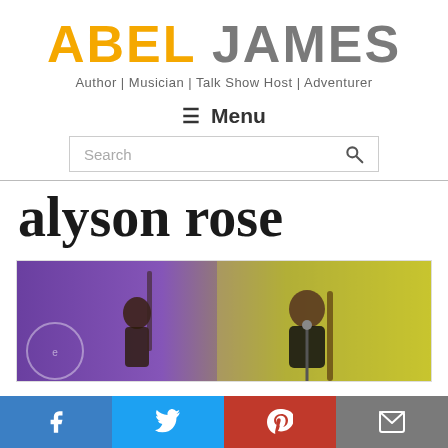ABEL JAMES - Author | Musician | Talk Show Host | Adventurer
≡ Menu
Search
alyson rose
[Figure (photo): Two musicians performing on stage, one playing guitar and singing into a microphone, one playing bass, with colorful purple and yellow-green lighting in the background.]